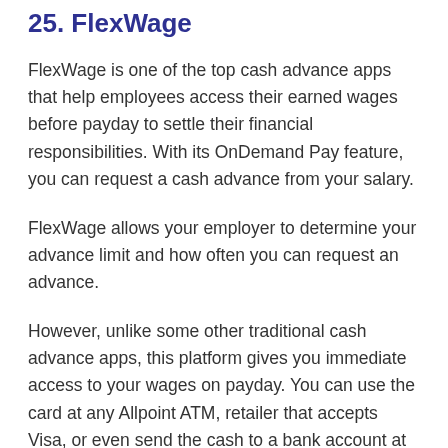25. FlexWage
FlexWage is one of the top cash advance apps that help employees access their earned wages before payday to settle their financial responsibilities. With its OnDemand Pay feature, you can request a cash advance from your salary.
FlexWage allows your employer to determine your advance limit and how often you can request an advance.
However, unlike some other traditional cash advance apps, this platform gives you immediate access to your wages on payday. You can use the card at any Allpoint ATM, retailer that accepts Visa, or even send the cash to a bank account at no charge.